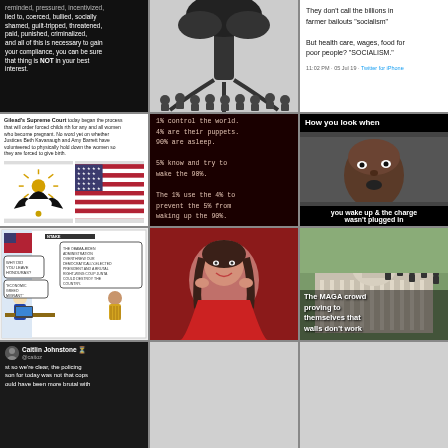[Figure (screenshot): Dark background social media post with white text about coercion, compliance, and best interest]
[Figure (illustration): Black and white illustration of crowd gathered under a large tree]
[Figure (screenshot): Twitter/social media screenshot about farmer bailouts vs socialism comparison]
[Figure (screenshot): White background post about Gilead Supreme Court forcing childbirth with imagery of bird and American flag]
[Figure (screenshot): Dark red background meme with conspiracy text about 1%, 4%, 90%, 5% controlling the world]
[Figure (photo): Black background Kevin Hart meme about phone not being charged]
[Figure (illustration): Political cartoon about Honduras and Obama-Biden administration coup]
[Figure (photo): Photo of smiling young girl in red dress sitting on stairs]
[Figure (photo): Photo of people climbing US Capitol building with MAGA crowd text overlay]
[Figure (screenshot): Dark social media post by Caitlin Johnstone about policing]